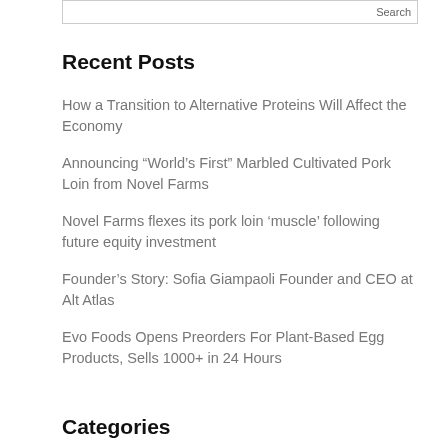Search
Recent Posts
How a Transition to Alternative Proteins Will Affect the Economy
Announcing “World’s First” Marbled Cultivated Pork Loin from Novel Farms
Novel Farms flexes its pork loin ‘muscle’ following future equity investment
Founder’s Story: Sofia Giampaoli Founder and CEO at Alt Atlas
Evo Foods Opens Preorders For Plant-Based Egg Products, Sells 1000+ in 24 Hours
Categories